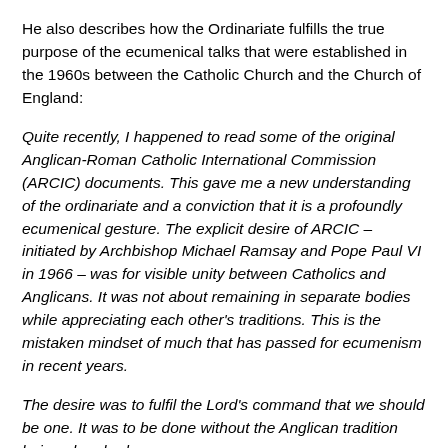He also describes how the Ordinariate fulfills the true purpose of the ecumenical talks that were established in the 1960s between the Catholic Church and the Church of England:
Quite recently, I happened to read some of the original Anglican-Roman Catholic International Commission (ARCIC) documents. This gave me a new understanding of the ordinariate and a conviction that it is a profoundly ecumenical gesture. The explicit desire of ARCIC – initiated by Archbishop Michael Ramsay and Pope Paul VI in 1966 – was for visible unity between Catholics and Anglicans. It was not about remaining in separate bodies while appreciating each other's traditions. This is the mistaken mindset of much that has passed for ecumenism in recent years.
The desire was to fulfil the Lord's command that we should be one. It was to be done without the Anglican tradition being absorbed.
This seems to be what Anglicanorum coetibus has achieved. The original aim of ARCIC involved the whole Church of